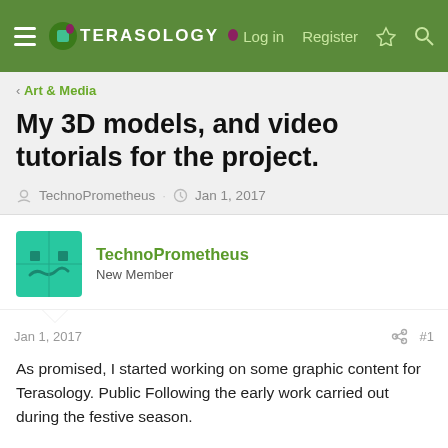Terasology — Log in  Register
< Art & Media
My 3D models, and video tutorials for the project.
TechnoPrometheus · Jan 1, 2017
TechnoPrometheus
New Member
Jan 1, 2017  #1
As promised, I started working on some graphic content for Terasology. Public Following the early work carried out during the festive season.
In my github account, I opened a new repository, Warehouse of Terasology, I use this space to post graphic material, documentation, and all I realized for the project. Mods, scripts,